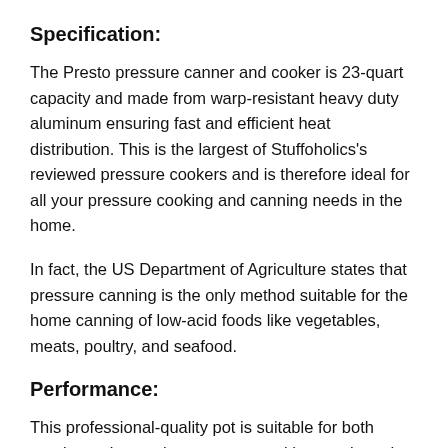Specification:
The Presto pressure canner and cooker is 23-quart capacity and made from warp-resistant heavy duty aluminum ensuring fast and efficient heat distribution. This is the largest of Stuffoholics's reviewed pressure cookers and is therefore ideal for all your pressure cooking and canning needs in the home.
In fact, the US Department of Agriculture states that pressure canning is the only method suitable for the home canning of low-acid foods like vegetables, meats, poultry, and seafood.
Performance:
This professional-quality pot is suitable for both regular and smooth-top ranges and has cool-touch